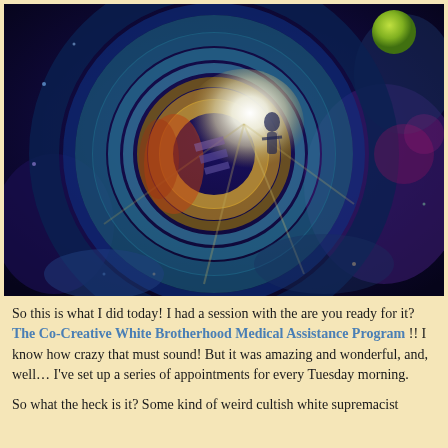[Figure (illustration): A colorful spiritual painting depicting swirling concentric circles in shades of blue, gold, and white. A luminous white light emanates from the center, with a silhouetted figure standing in the light. The background is deep blue and purple with cosmic imagery. A green orb is visible in the upper right. The overall composition evokes a cosmic or spiritual portal.]
So this is what I did today! I had a session with the are you ready for it? The Co-Creative White Brotherhood Medical Assistance Program !! I know how crazy that must sound! But it was amazing and wonderful, and, well… I've set up a series of appointments for every Tuesday morning.
So what the heck is it? Some kind of weird cultish white supremacist